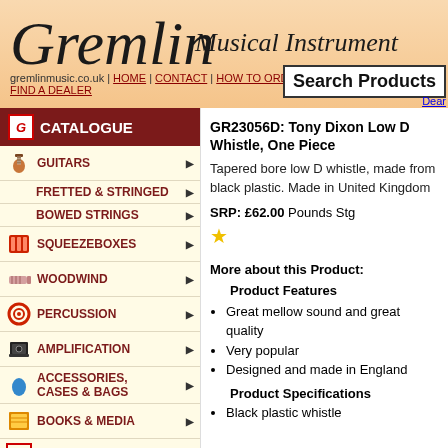Gremlin Musical Instrument — gremlinmusic.co.uk | HOME | CONTACT | HOW TO ORDER | TERMS & C | FIND A DEALER | Search Products | Dear
CATALOGUE
GUITARS
FRETTED & STRINGED
BOWED STRINGS
SQUEEZEBOXES
WOODWIND
PERCUSSION
AMPLIFICATION
ACCESSORIES, CASES & BAGS
BOOKS & MEDIA
BROWSE BY BRAND
NEW LINES
GR23056D: Tony Dixon Low D Whistle, One Piece
Tapered bore low D whistle, made from black plastic. Made in United Kingdom
SRP: £62.00 Pounds Stg
More about this Product:
Product Features
Great mellow sound and great quality
Very popular
Designed and made in England
Product Specifications
Black plastic whistle